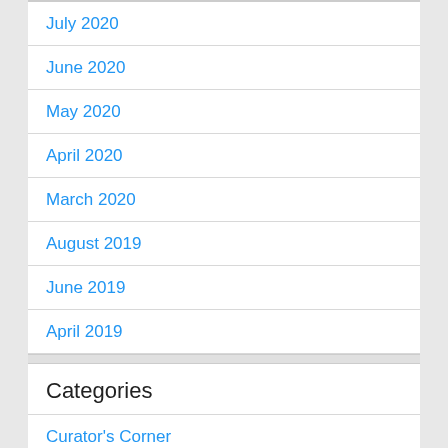July 2020
June 2020
May 2020
April 2020
March 2020
August 2019
June 2019
April 2019
Categories
Curator's Corner
News